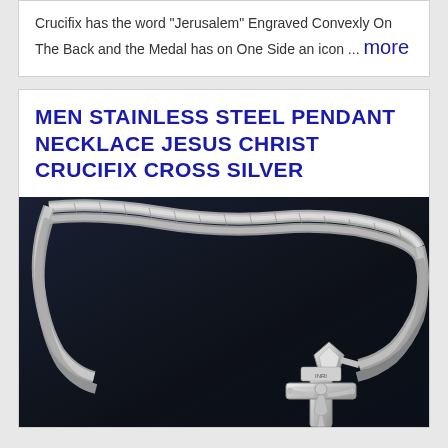Crucifix has the word "Jerusalem" Engraved Convexly On The Back and the Medal has on One Side an icon ... more
MEN STAINLESS STEEL PENDANT NECKLACE JESUS CHRIST CRUCIFIX CROSS SILVER
[Figure (photo): Product photo of a silver stainless steel men's crucifix cross pendant necklace on a dark background. The necklace features a braided/wheat chain and a detailed Jesus Christ crucifix cross pendant.]